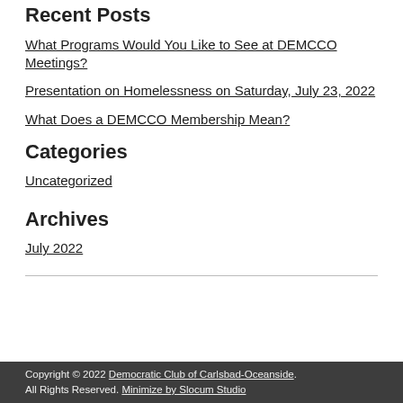Recent Posts
What Programs Would You Like to See at DEMCCO Meetings?
Presentation on Homelessness on Saturday, July 23, 2022
What Does a DEMCCO Membership Mean?
Categories
Uncategorized
Archives
July 2022
Copyright © 2022 Democratic Club of Carlsbad-Oceanside. All Rights Reserved. Minimize by Slocum Studio